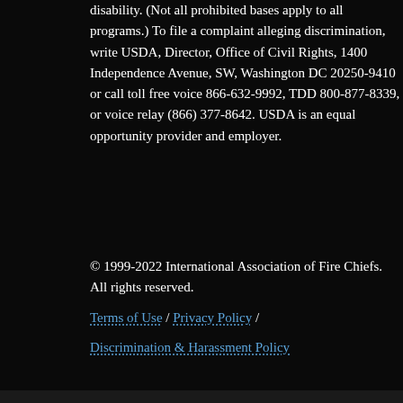disability. (Not all prohibited bases apply to all programs.) To file a complaint alleging discrimination, write USDA, Director, Office of Civil Rights, 1400 Independence Avenue, SW, Washington DC 20250-9410 or call toll free voice 866-632-9992, TDD 800-877-8339, or voice relay (866) 377-8642. USDA is an equal opportunity provider and employer.
© 1999-2022 International Association of Fire Chiefs. All rights reserved.
Terms of Use / Privacy Policy / Discrimination & Harassment Policy